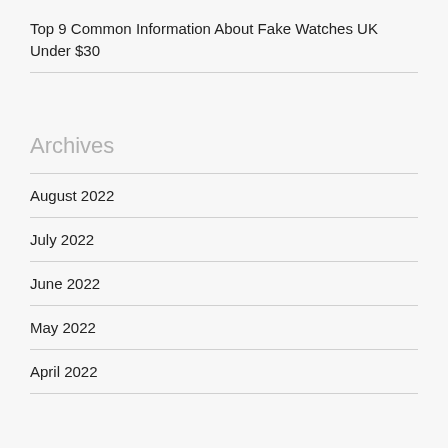Top 9 Common Information About Fake Watches UK Under $30
Archives
August 2022
July 2022
June 2022
May 2022
April 2022